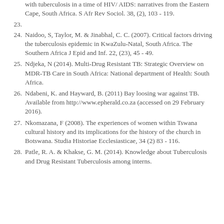(continuation) with tuberculosis in a time of HIV/ AIDS: narratives from the Eastern Cape, South Africa. S Afr Rev Sociol. 38, (2), 103 - 119.
23.
24. Naidoo, S, Taylor, M. & Jinabhal, C. C. (2007). Critical factors driving the tuberculosis epidemic in KwaZulu-Natal, South Africa. The Southern Africa J Epid and Inf. 22, (23), 45 - 49.
25. Ndjeka, N (2014). Multi-Drug Resistant TB: Strategic Overview on MDR-TB Care in South Africa: National department of Health: South Africa.
26. Ndabeni, K. and Hayward, B. (2011) Bay loosing war against TB. Available from http://www.epherald.co.za (accessed on 29 February 2016).
27. Nkomazana, F (2008). The experiences of women within Tswana cultural history and its implications for the history of the church in Botswana. Studia Historiae Ecclesiasticae, 34 (2) 83 - 116.
28. Patle, R. A. & Khakse, G. M. (2014). Knowledge about Tuberculosis and Drug Resistant Tuberculosis among interns.